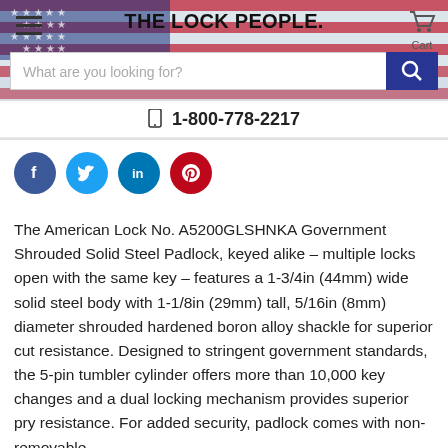THE LOCK PEOPLE.
[Figure (screenshot): Website header with American flag background, hamburger menu icon, The Lock People logo, shopping cart icon, search bar, and phone number 1-800-778-2217]
[Figure (infographic): Social media share buttons: Facebook (dark blue), Twitter (light blue), LinkedIn (blue), Pinterest (red)]
The American Lock No. A5200GLSHNKA Government Shrouded Solid Steel Padlock, keyed alike – multiple locks open with the same key – features a 1-3/4in (44mm) wide solid steel body with 1-1/8in (29mm) tall, 5/16in (8mm) diameter shrouded hardened boron alloy shackle for superior cut resistance. Designed to stringent government standards, the 5-pin tumbler cylinder offers more than 10,000 key changes and a dual locking mechanism provides superior pry resistance. For added security, padlock comes with non-removable